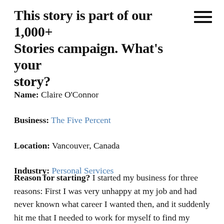This story is part of our 1,000+ Stories campaign. What's your story?
Name: Claire O'Connor
Business: The Five Percent
Location: Vancouver, Canada
Industry: Personal Services
Reason for starting? I started my business for three reasons: First I was very unhappy at my job and had never known what career I wanted then, and it suddenly hit me that I needed to work for myself to find my particular brand of work happiness. Second, I felt there was a lack of support